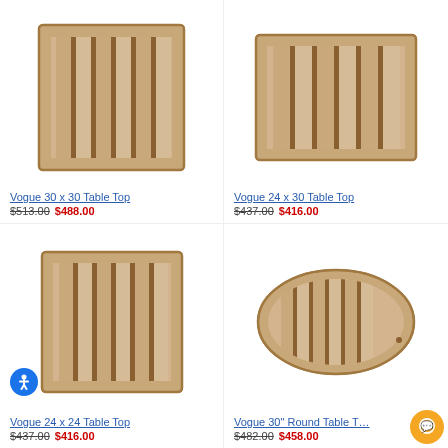[Figure (photo): Teak wood square table top, Vogue 30x30, slatted surface with frame, top-down view]
Vogue 30 x 30 Table Top
$513.00 $488.00
[Figure (photo): Teak wood rectangular table top, Vogue 24x30, slatted surface with frame, top-down view]
Vogue 24 x 30 Table Top
$437.00 $416.00
[Figure (photo): Teak wood square table top, Vogue 24x24, slatted surface with frame, top-down view]
Vogue 24 x 24 Table Top
$437.00 $416.00
[Figure (photo): Teak wood round table top, Vogue 30 inch round, slatted oval/round surface, top-down view]
Vogue 30" Round Table T…
$482.00 $458.00